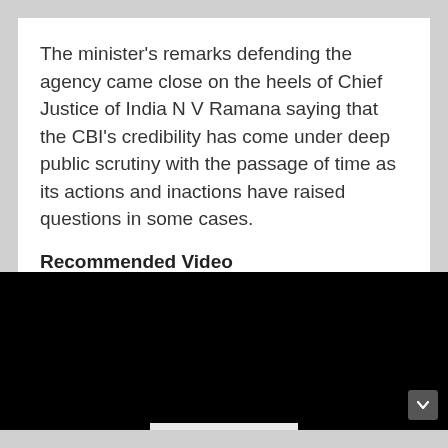The minister's remarks defending the agency came close on the heels of Chief Justice of India N V Ramana saying that the CBI's credibility has come under deep public scrutiny with the passage of time as its actions and inactions have raised questions in some cases.
Recommended Video
[Figure (other): Black video player rectangle with a chevron/down arrow button in the bottom-right corner]